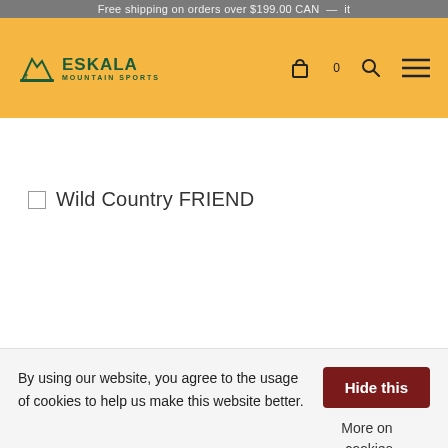Free shipping on orders over $199.00 CAN — it
[Figure (logo): Eskala Mountain Sports logo — mountain icon with green text]
Wild Country FRIEND
By using our website, you agree to the usage of cookies to help us make this website better.
Hide this
More on cookies »